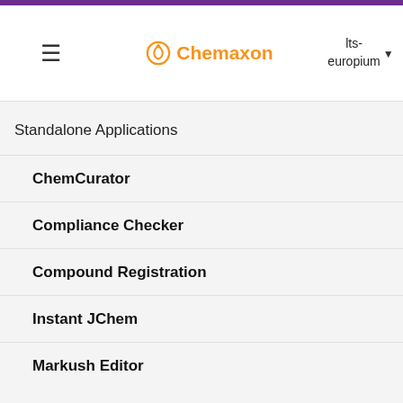Chemaxon — lts-europium — navigation header
Standalone Applications
ChemCurator
Compliance Checker
Compound Registration
Instant JChem
Markush Editor
Marvin Live
MarvinSketch
Introduction to MarvinSketch